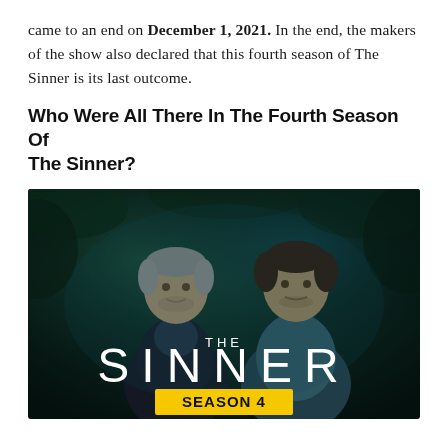came to an end on December 1, 2021. In the end, the makers of the show also declared that this fourth season of The Sinner is its last outcome.
Who Were All There In The Fourth Season Of The Sinner?
[Figure (photo): Promotional image for The Sinner Season 4, showing two male actors standing back-to-back in a dark forest setting. Large white text reads 'THE SINNER' and a yellow banner at the bottom reads 'SEASON 4'.]